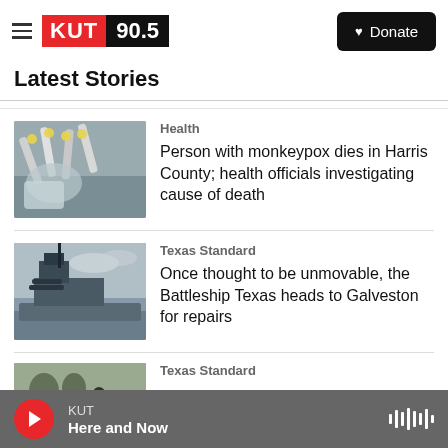KUT 90.5 | Donate
Latest Stories
[Figure (photo): Medical vials and syringes in a bag]
Health
Person with monkeypox dies in Harris County; health officials investigating cause of death
[Figure (photo): Battleship Texas on the water]
Texas Standard
Once thought to be unmovable, the Battleship Texas heads to Galveston for repairs
[Figure (photo): Partial third story image]
Texas Standard
KUT | Here and Now